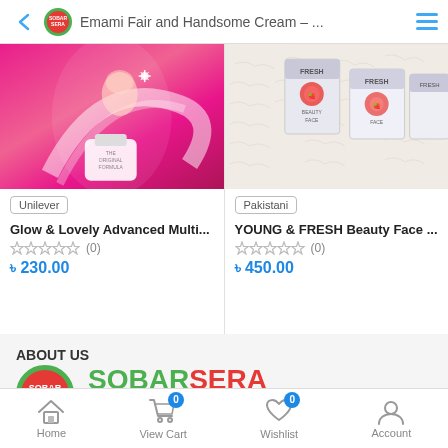Emami Fair and Handsome Cream – ...
[Figure (screenshot): Product listing for Glow & Lovely Advanced Multi cream with pink packaging, brand badge: Unilever, price ৳230.00, 0 reviews]
[Figure (screenshot): Product listing for YOUNG & FRESH Beauty Face cream with strawberry packaging on white fur, brand badge: Pakistani, price ৳450.00, 0 reviews]
ABOUT US
[Figure (logo): SOBARSERA best product logo — green circle with red inner circle containing white text SOBAR SERA, next to bold text SOBARSERA in green/red and best product in red/green]
Home  View Cart  Wishlist  Account